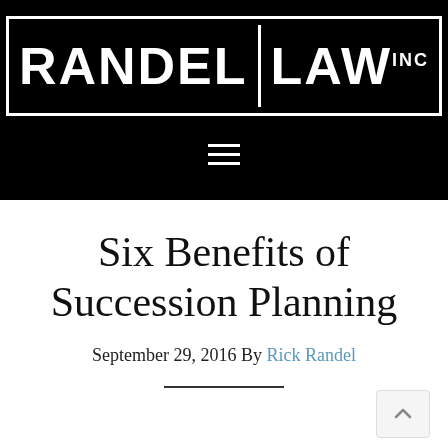[Figure (logo): Randel Law Inc logo — white text on black background inside a white border box, with RANDEL on the left separated by a vertical line from LAW with INC superscript on the right]
Six Benefits of Succession Planning
September 29, 2016 By Rick Randel